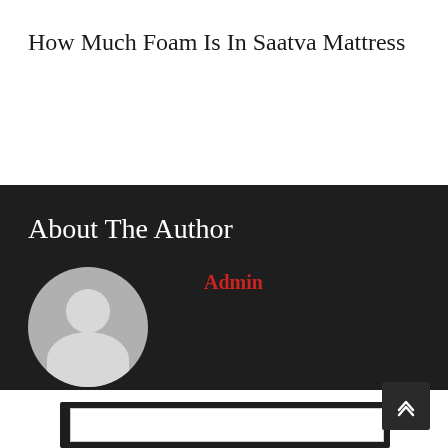How Much Foam Is In Saatva Mattress
About The Author
Admin
[Figure (illustration): Default user avatar — grey circle with white silhouette of a person (head and shoulders)]
[Figure (screenshot): Partial view of a dark-bordered comment/form box at the bottom of the page, with a white input field visible inside]